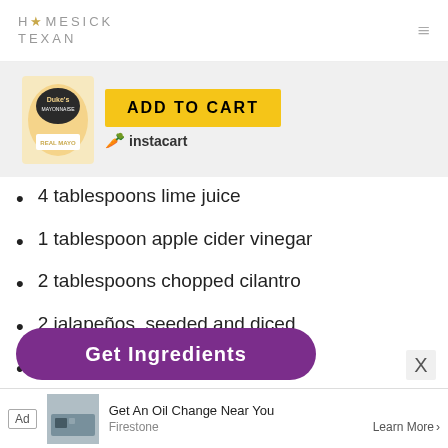HOMESICK TEXAN
[Figure (screenshot): Duke's Mayonnaise product image with yellow ADD TO CART button and Instacart logo]
4 tablespoons lime juice
1 tablespoon apple cider vinegar
2 tablespoons chopped cilantro
2 jalapeños, seeded and diced
2 cloves garlic, minced
1 large radish, grated
[Figure (screenshot): Purple Get Ingredients button]
Ad | Get An Oil Change Near You | Firestone | Learn More